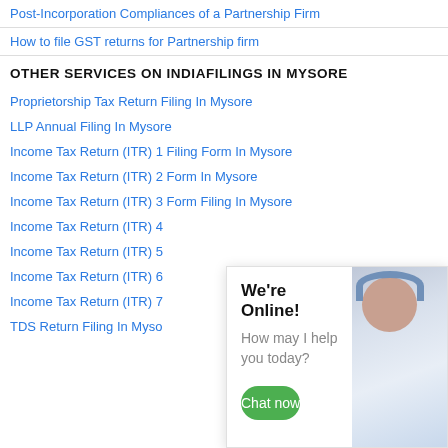Post-Incorporation Compliances of a Partnership Firm
How to file GST returns for Partnership firm
OTHER SERVICES ON INDIAFILINGS IN MYSORE
Proprietorship Tax Return Filing In Mysore
LLP Annual Filing In Mysore
Income Tax Return (ITR) 1 Filing Form In Mysore
Income Tax Return (ITR) 2 Form In Mysore
Income Tax Return (ITR) 3 Form Filing In Mysore
Income Tax Return (ITR) 4
Income Tax Return (ITR) 5
Income Tax Return (ITR) 6
Income Tax Return (ITR) 7
TDS Return Filing In Myso
[Figure (screenshot): Live chat widget overlay showing 'We're Online!' heading, 'How may I help you today?' subtext, a green 'Chat now' button, and a photo of a customer service agent wearing a headset.]